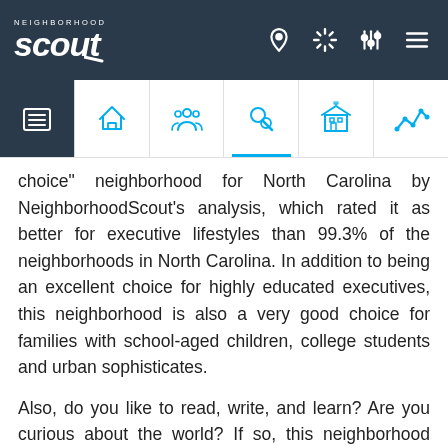Neighborhood Scout
choice" neighborhood for North Carolina by NeighborhoodScout's analysis, which rated it as better for executive lifestyles than 99.3% of the neighborhoods in North Carolina. In addition to being an excellent choice for highly educated executives, this neighborhood is also a very good choice for families with school-aged children, college students and urban sophisticates.
Also, do you like to read, write, and learn? Are you curious about the world? If so, this neighborhood may be a good fit for you. NeighborhoodScout's...